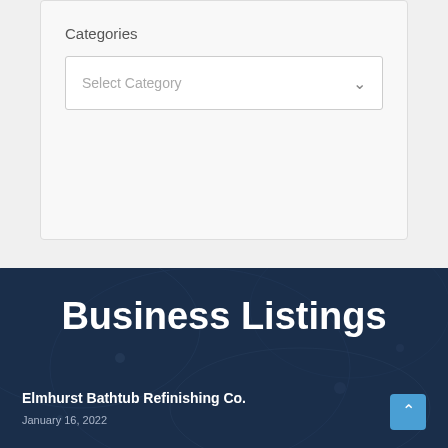Categories
Select Category
Business Listings
Elmhurst Bathtub Refinishing Co.
January 16, 2022